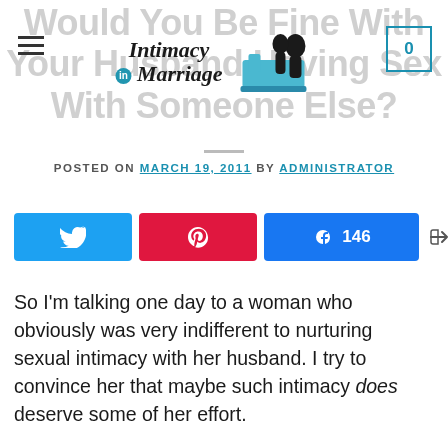Would You Be Fine With Your Husband Having Sex With Someone Else?
[Figure (logo): Intimacy in Marriage logo with silhouette of couple and bed, hamburger menu icon, and cart icon with 0]
POSTED ON MARCH 19, 2011 BY ADMINISTRATOR
[Figure (infographic): Social share buttons: Twitter, Pinterest, Facebook with 146 shares count and share icon showing 146 SHARES]
So I'm talking one day to a woman who obviously was very indifferent to nurturing sexual intimacy with her husband. I try to convince her that maybe such intimacy does deserve some of her effort.
Trust me. I always overestimate my degree of